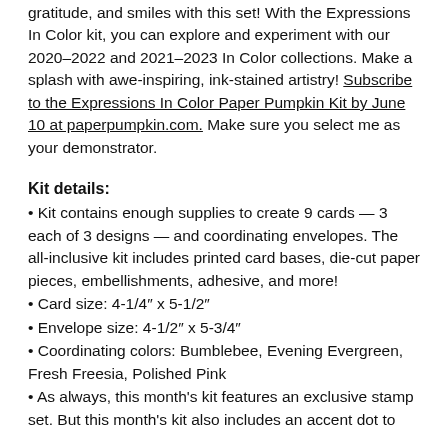gratitude, and smiles with this set! With the Expressions In Color kit, you can explore and experiment with our 2020–2022 and 2021–2023 In Color collections. Make a splash with awe-inspiring, ink-stained artistry! Subscribe to the Expressions In Color Paper Pumpkin Kit by June 10 at paperpumpkin.com. Make sure you select me as your demonstrator.
Kit details:
• Kit contains enough supplies to create 9 cards — 3 each of 3 designs — and coordinating envelopes. The all-inclusive kit includes printed card bases, die-cut paper pieces, embellishments, adhesive, and more!
• Card size: 4-1/4" x 5-1/2"
• Envelope size: 4-1/2" x 5-3/4"
• Coordinating colors: Bumblebee, Evening Evergreen, Fresh Freesia, Polished Pink
• As always, this month's kit features an exclusive stamp set. But this month's kit also includes an accent dot to